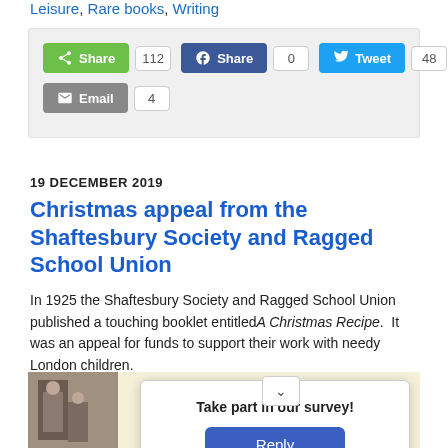Leisure, Rare books, Writing
[Figure (infographic): Social share buttons: Share (112), Facebook Share (0), Tweet (48), Pin (0), Email (4)]
19 DECEMBER 2019
Christmas appeal from the Shaftesbury Society and Ragged School Union
In 1925 the Shaftesbury Society and Ragged School Union published a touching booklet entitled A Christmas Recipe. It was an appeal for funds to support their work with needy London children.
[Figure (photo): Partial old photograph of children, partially obscured by survey modal]
Take part in our survey!